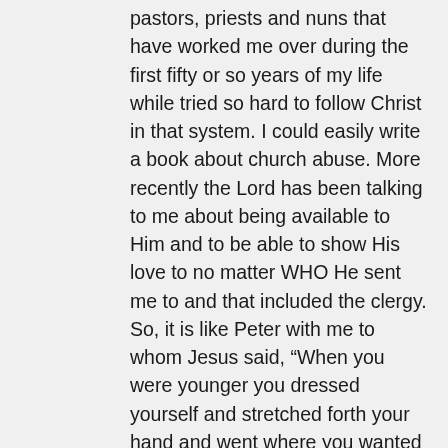pastors, priests and nuns that have worked me over during the first fifty or so years of my life while tried so hard to follow Christ in that system. I could easily write a book about church abuse. More recently the Lord has been talking to me about being available to Him and to be able to show His love to no matter WHO He sent me to and that included the clergy. So, it is like Peter with me to whom Jesus said, “When you were younger you dressed yourself and stretched forth your hand and went where you wanted to. But when you are older